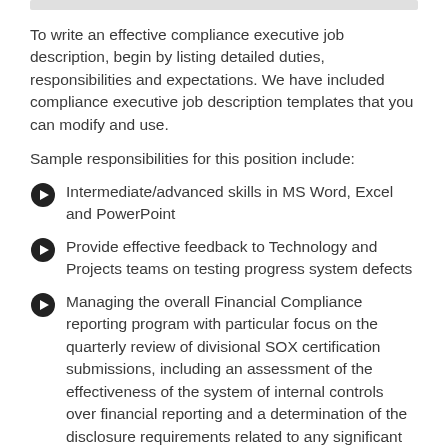To write an effective compliance executive job description, begin by listing detailed duties, responsibilities and expectations. We have included compliance executive job description templates that you can modify and use.
Sample responsibilities for this position include:
Intermediate/advanced skills in MS Word, Excel and PowerPoint
Provide effective feedback to Technology and Projects teams on testing progress system defects
Managing the overall Financial Compliance reporting program with particular focus on the quarterly review of divisional SOX certification submissions, including an assessment of the effectiveness of the system of internal controls over financial reporting and a determination of the disclosure requirements related to any significant deficiencies, material weakness or